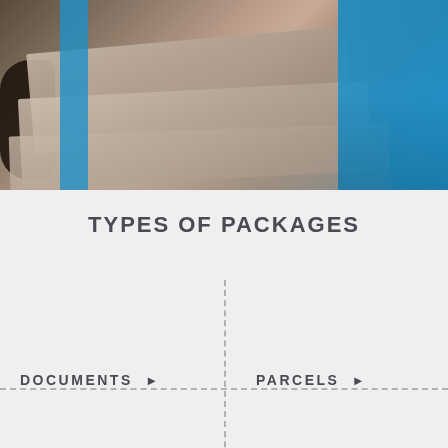[Figure (photo): Photo of stacked packages/boxes being held by a person in a blue shirt, with a dark-skinned hand visible on the left. A blue strap is visible on the packages.]
TYPES OF PACKAGES
DOCUMENTS ▶
PARCELS ▶